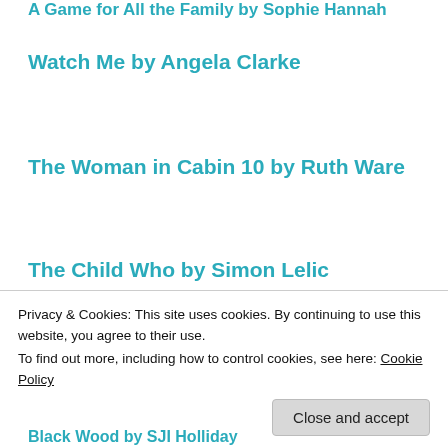A Game for All the Family by Sophie Hannah
Watch Me by Angela Clarke
The Woman in Cabin 10 by Ruth Ware
The Child Who by Simon Lelic
[Figure (photo): Row of five book covers: Final Girls (Riley Sager), The Age of Bowie, Black Wood (SJI Holliday), The Good Immigrant (edited by Nikesh Shukla), The Unseeing (Anna Mazzola)]
Privacy & Cookies: This site uses cookies. By continuing to use this website, you agree to their use.
To find out more, including how to control cookies, see here:
Cookie Policy
Close and accept
Black Wood by SJI Holliday